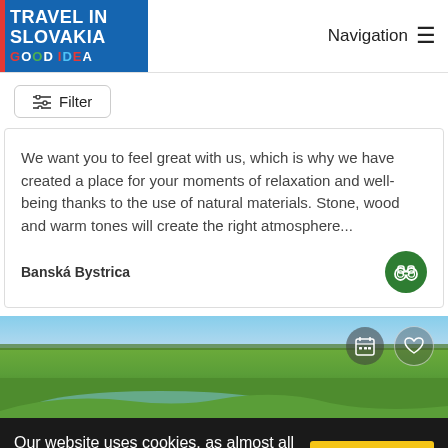TRAVEL IN SLOVAKIA GOOD IDEA — Navigation
Filter
We want you to feel great with us, which is why we have created a place for your moments of relaxation and well-being thanks to the use of natural materials. Stone, wood and warm tones will create the right atmosphere...
Banská Bystrica
[Figure (photo): Aerial landscape photo of green flat fields with a meandering river/wetland, blue sky, with calendar and heart icons overlaid in top right]
Our website uses cookies, as almost all websites do, to help provide you with the best experience we can.
I agree